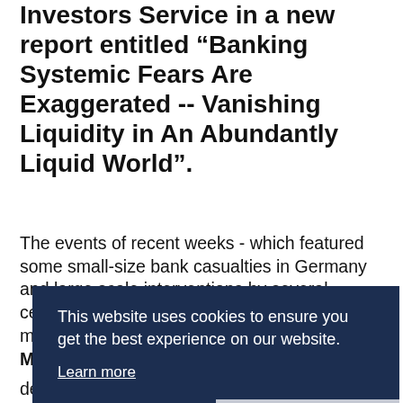Investors Service in a new report entitled “Banking Systemic Fears Are Exaggerated -- Vanishing Liquidity in An Abundantly Liquid World”.
The events of recent weeks - which featured some small-size bank casualties in Germany and large scale interventions by several central banks to restore orderly conditions on money markets - potentially cast into question Moody’s contention, outlined in a recent report, by Moody’s Investors Service, that the financial system s…
“… depression of earnings attributable to asset